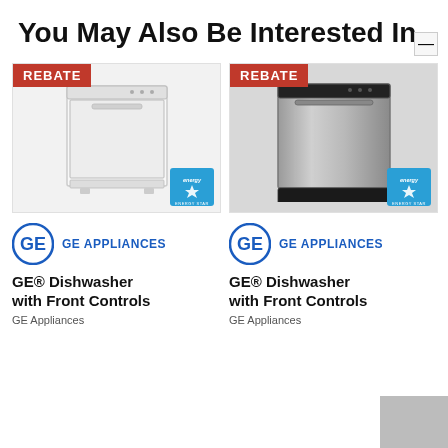You May Also Be Interested In
[Figure (photo): White GE dishwasher with front controls, REBATE badge top-left, Energy Star badge bottom-right]
[Figure (logo): GE Appliances logo - blue circle with GE monogram and text GE APPLIANCES]
GE® Dishwasher with Front Controls
GE Appliances
[Figure (photo): Stainless steel GE dishwasher with front controls, REBATE badge top-left, Energy Star badge bottom-right]
[Figure (logo): GE Appliances logo - blue circle with GE monogram and text GE APPLIANCES]
GE® Dishwasher with Front Controls
GE Appliances